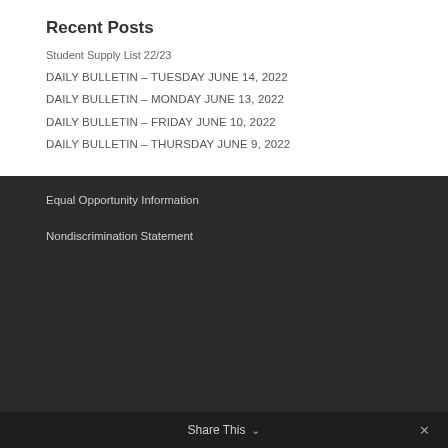Recent Posts
Student Supply List 22/23
DAILY BULLETIN – TUESDAY JUNE 14, 2022
DAILY BULLETIN – MONDAY JUNE 13, 2022
DAILY BULLETIN – FRIDAY JUNE 10, 2022
DAILY BULLETIN – THURSDAY JUNE 9, 2022
Equal Opportunity Information
Nondiscrimination Statement
Share This ∨  ✕